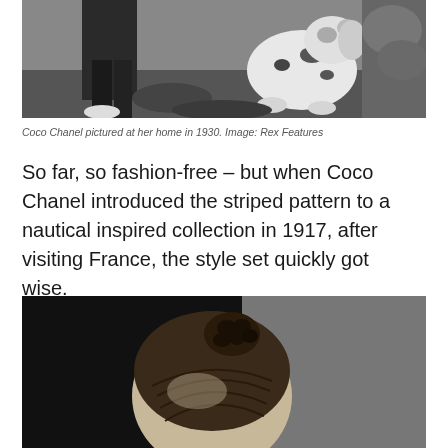[Figure (photo): Black and white photograph of Coco Chanel at her home in 1930, showing person standing with a dalmatian dog]
Coco Chanel pictured at her home in 1930. Image: Rex Features
So far, so fashion-free – but when Coco Chanel introduced the striped pattern to a nautical inspired collection in 1917, after visiting France, the style set quickly got wise.
[Figure (photo): Black and white close-up photograph showing the back of a woman's head with hair styled in a chignon bun]